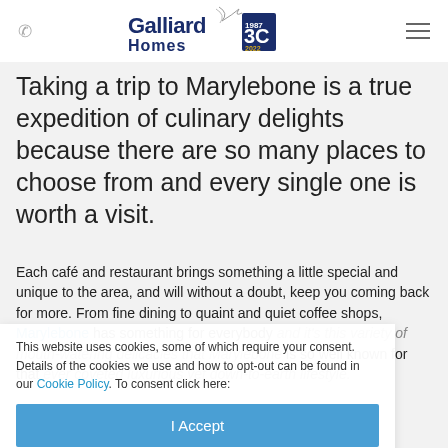Galliard Homes [logo]
Taking a trip to Marylebone is a true expedition of culinary delights because there are so many places to choose from and every single one is worth a visit.
Each café and restaurant brings something a little special and unique to the area, and will without a doubt, keep you coming back for more. From fine dining to quaint and quiet coffee shops, Marylebone has something for everybody and it's this variety of mouth-watering delicacies that Marylebone is so well known for that ever coveted luxurious yet down-to-earth lifestyle.
This website uses cookies, some of which require your consent. Details of the cookies we use and how to opt-out can be found in our Cookie Policy. To consent click here:
I Accept
Celebrity Hotspot
Hollywood A-Listers often frequent the ultra-trendy